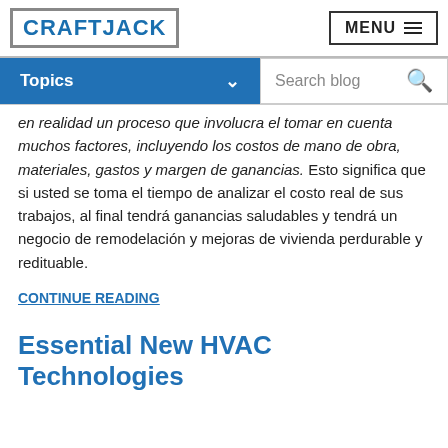CRAFTJACK | MENU
Topics | Search blog
en realidad un proceso que involucra el tomar en cuenta muchos factores, incluyendo los costos de mano de obra, materiales, gastos y margen de ganancias. Esto significa que si usted se toma el tiempo de analizar el costo real de sus trabajos, al final tendrá ganancias saludables y tendrá un negocio de remodelación y mejoras de vivienda perdurable y redituable.
CONTINUE READING
Essential New HVAC Technologies